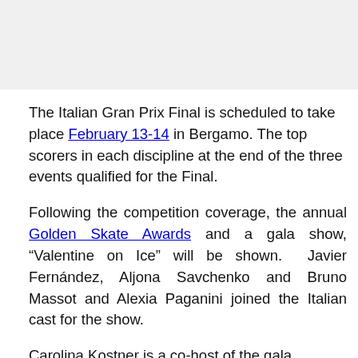The Italian Gran Prix Final is scheduled to take place February 13-14 in Bergamo. The top scorers in each discipline at the end of the three events qualified for the Final.
Following the competition coverage, the annual Golden Skate Awards and a gala show, “Valentine on Ice” will be shown. Javier Fernández, Aljona Savchenko and Bruno Massot and Alexia Paganini joined the Italian cast for the show.
Carolina Kostner is a co-host of the gala.
Skaters/teams qualified for the Gran Final:
Men: Daniel Samohin, Matteo Rizzo, Gabriele Frangipane...